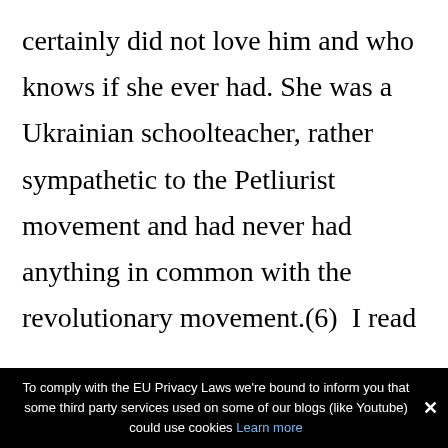certainly did not love him and who knows if she ever had. She was a Ukrainian schoolteacher, rather sympathetic to the Petliurist movement and had never had anything in common with the revolutionary movement.(6)  I read somewhere that Makhno had become a revolutionary due to the influence of a female schoolteacher who later went on to become hiswife. That is an absolute crock. By the time he met his wife,
To comply with the EU Privacy Laws we're bound to inform you that some third party services used on some of our blogs (like Youtube) could use cookies Learn more